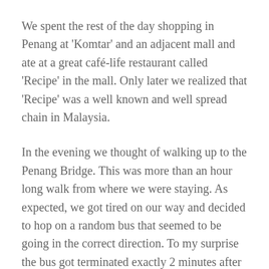We spent the rest of the day shopping in Penang at 'Komtar' and an adjacent mall and ate at a great café-life restaurant called 'Recipe' in the mall. Only later we realized that 'Recipe' was a well known and well spread chain in Malaysia.
In the evening we thought of walking up to the Penang Bridge. This was more than an hour long walk from where we were staying. As expected, we got tired on our way and decided to hop on a random bus that seemed to be going in the correct direction. To my surprise the bus got terminated exactly 2 minutes after we had entered it. We felt like fools but still decided to walk in the direction of the bridge. My iPhone map was very helpful. Finally we reached a place from where we got a good glimpse of the bridge and decided that that